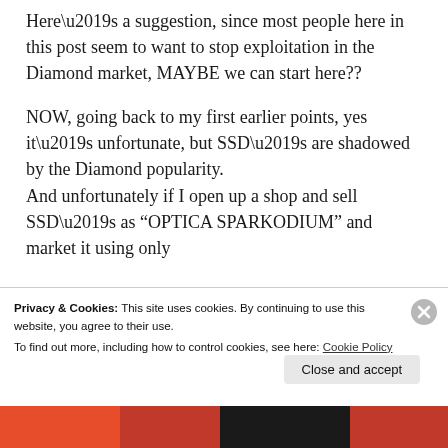Here’s a suggestion, since most people here in this post seem to want to stop exploitation in the Diamond market, MAYBE we can start here??
NOW, going back to my first earlier points, yes it’s unfortunate, but SSD’s are shadowed by the Diamond popularity.
And unfortunately if I open up a shop and sell SSD’s as “OPTICA SPARKODIUM” and market it using only
Privacy & Cookies: This site uses cookies. By continuing to use this website, you agree to their use.
To find out more, including how to control cookies, see here: Cookie Policy